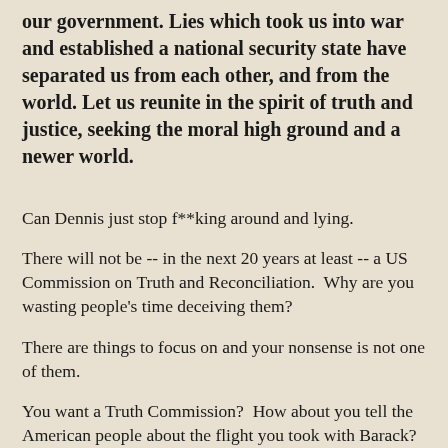our government. Lies which took us into war and established a national security state have separated us from each other, and from the world. Let us reunite in the spirit of truth and justice, seeking the moral high ground and a newer world.
Can Dennis just stop f**king around and lying.
There will not be -- in the next 20 years at least -- a US Commission on Truth and Reconciliation.  Why are you wasting people's time deceiving them?
There are things to focus on and your nonsense is not one of them.
You want a Truth Commission?  How about you tell the American people about the flight you took with Barack?  How about you explain how you got on that plane